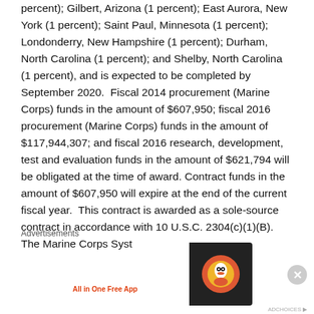percent); Gilbert, Arizona (1 percent); East Aurora, New York (1 percent); Saint Paul, Minnesota (1 percent); Londonderry, New Hampshire (1 percent); Durham, North Carolina (1 percent); and Shelby, North Carolina (1 percent), and is expected to be completed by September 2020.  Fiscal 2014 procurement (Marine Corps) funds in the amount of $607,950; fiscal 2016 procurement (Marine Corps) funds in the amount of $117,944,307; and fiscal 2016 research, development, test and evaluation funds in the amount of $621,794 will be obligated at the time of award. Contract funds in the amount of $607,950 will expire at the end of the current fiscal year.  This contract is awarded as a sole-source contract in accordance with 10 U.S.C. 2304(c)(1)(B).  The Marine Corps Syst...
Advertisements
[Figure (other): DuckDuckGo advertisement banner: 'Search, browse, and email with more privacy. All in One Free App' with DuckDuckGo logo on dark background.]